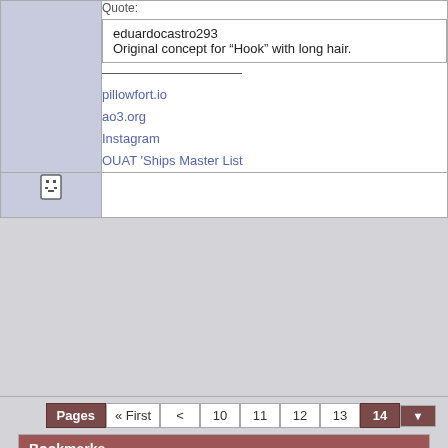Quote:
eduardocastro293
Original concept for “Hook” with long hair.
pillowfort.io
ao3.org
Instagram
OUAT 'Ships Master List
[Figure (other): Emoji face icon in left cell of forum row]
Pages « First < 10 11 12 13 14
Bookmarks
Digg
StumbleUpon
Facebook
del.icio.us
Google